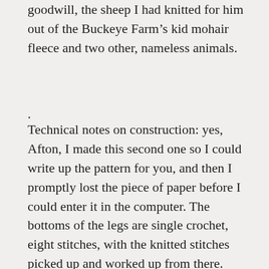goodwill, the sheep I had knitted for him out of the Buckeye Farm's kid mohair fleece and two other, nameless animals.
Technical notes on construction: yes, Afton, I made this second one so I could write up the pattern for you, and then I promptly lost the piece of paper before I could enter it in the computer. The bottoms of the legs are single crochet, eight stitches, with the knitted stitches picked up and worked up from there. Bulky yarn, as small needles as you can comfortably work it on, you want it good and dense. The legs are worked separately and put aside, then the main body knitted, adding the legs on as you go. Robert's was done starting at the tail end. Note that it is far more fun to look at a sheep's face than its butt as you're knitting–so I did this one face first. Attach the eyes